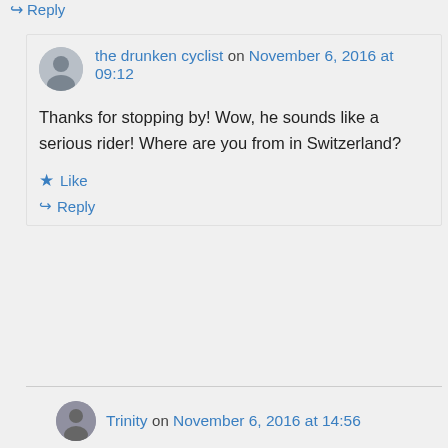↪ Reply
the drunken cyclist on November 6, 2016 at 09:12
Thanks for stopping by! Wow, he sounds like a serious rider! Where are you from in Switzerland?
★ Like
↪ Reply
Trinity on November 6, 2016 at 14:56
We live just outside of Zürich, in the Lowlands (Unterland).